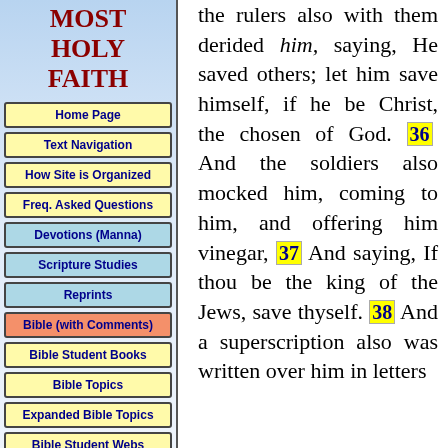MOST HOLY FAITH
Home Page
Text Navigation
How Site is Organized
Freq. Asked Questions
Devotions (Manna)
Scripture Studies
Reprints
Bible (with Comments)
Bible Student Books
Bible Topics
Expanded Bible Topics
Bible Student Webs
Miscellaneous
the rulers also with them derided him, saying, He saved others; let him save himself, if he be Christ, the chosen of God. 36 And the soldiers also mocked him, coming to him, and offering him vinegar, 37 And saying, If thou be the king of the Jews, save thyself. 38 And a superscription also was written over him in letters of Greek,